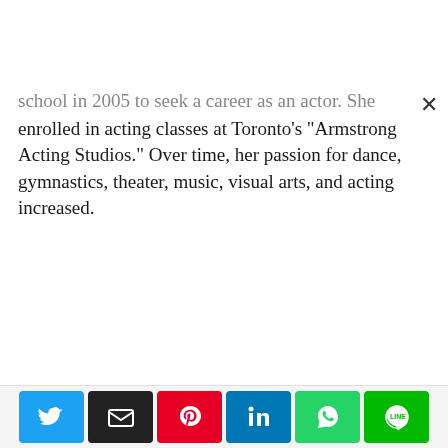school in 2005 to seek a career as an actor. She enrolled in acting classes at Toronto's "Armstrong Acting Studios." Over time, her passion for dance, gymnastics, theater, music, visual arts, and acting increased.
[Figure (other): Social media share bar with buttons for Twitter, Email, Pinterest, LinkedIn, WhatsApp, and Line.]